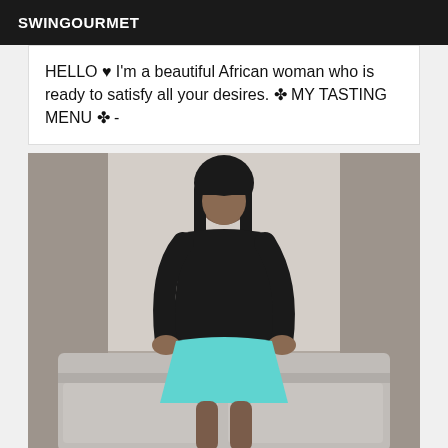SWINGOURMET
HELLO ♥ I'm a beautiful African woman who is ready to satisfy all your desires. ✤ MY TASTING MENU ✤ -
[Figure (photo): A woman with long dark hair wearing a black long-sleeve top and a short turquoise skirt, posing in front of a grey sofa with curtains in the background.]